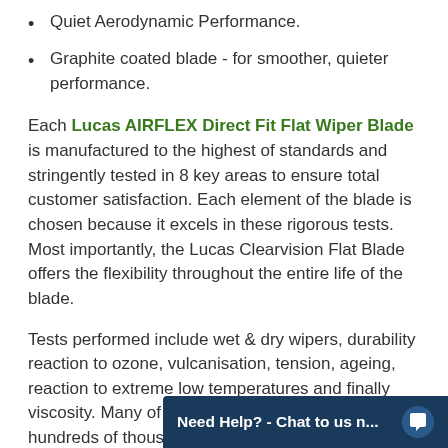Quiet Aerodynamic Performance.
Graphite coated blade - for smoother, quieter performance.
Each Lucas AIRFLEX Direct Fit Flat Wiper Blade is manufactured to the highest of standards and stringently tested in 8 key areas to ensure total customer satisfaction. Each element of the blade is chosen because it excels in these rigorous tests. Most importantly, the Lucas Clearvision Flat Blade offers the flexibility throughout the entire life of the blade.
Tests performed include wet & dry wipers, durability reaction to ozone, vulcanisation, tension, ageing, reaction to extreme low temperatures and finally viscosity. Many of these tests are repeated over hundreds of thousands of cycles at temperatures ranging from -50c to ensure that each bla...